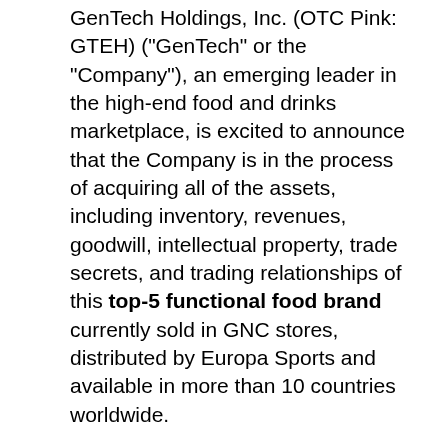GenTech Holdings, Inc. (OTC Pink: GTEH) ("GenTech" or the "Company"), an emerging leader in the high-end food and drinks marketplace, is excited to announce that the Company is in the process of acquiring all of the assets, including inventory, revenues, goodwill, intellectual property, trade secrets, and trading relationships of this top-5 functional food brand currently sold in GNC stores, distributed by Europa Sports and available in more than 10 countries worldwide.
The Purchase Agreement (the "Agreement") represents a comprehensive asset acquisition in a cash deal. Further details of the transaction are under embargo until Thursday 11th June where full details will be released although the Company intends to update the market as further details are available.
The products of the acquisition target produce are